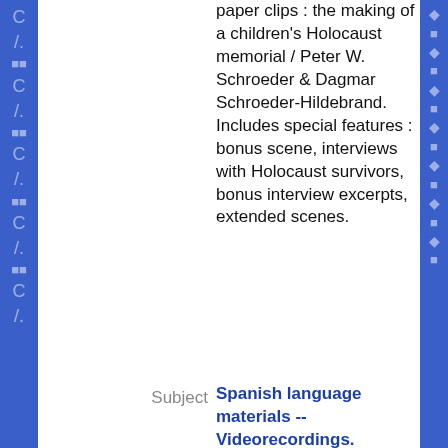paper clips : the making of a children's Holocaust memorial / Peter W. Schroeder & Dagmar Schroeder-Hildebrand. Includes special features : bonus scene, interviews with Holocaust survivors, bonus interview excerpts, extended scenes.
Subject
Spanish language materials -- Videorecordings. French language materials -- Videorecordings.